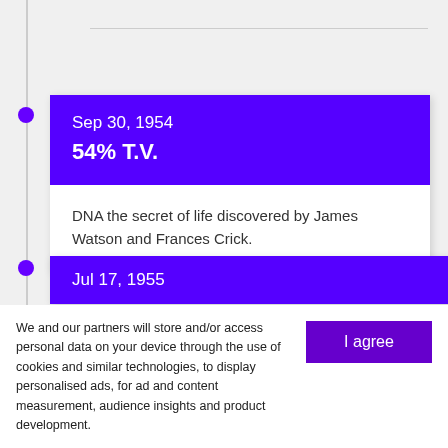Sep 30, 1954
54% T.V.
DNA the secret of life discovered by James Watson and Frances Crick.
Jul 17, 1955
We and our partners will store and/or access personal data on your device through the use of cookies and similar technologies, to display personalised ads, for ad and content measurement, audience insights and product development.

By clicking 'I agree,' you consent to this, or you can manage your preferences.